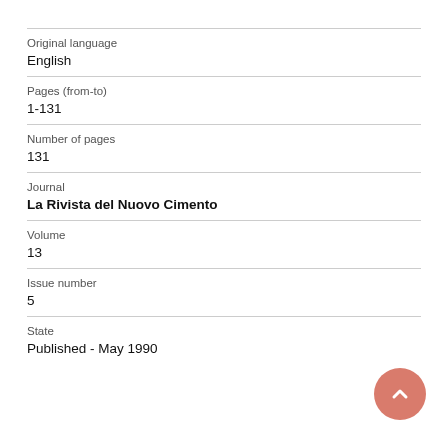| Field | Value |
| --- | --- |
| Original language | English |
| Pages (from-to) | 1-131 |
| Number of pages | 131 |
| Journal | La Rivista del Nuovo Cimento |
| Volume | 13 |
| Issue number | 5 |
| State | Published - May 1990 |